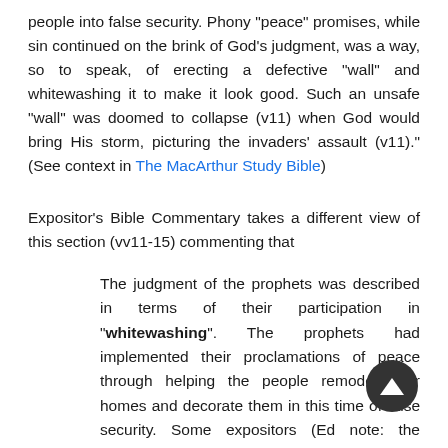people into false security. Phony "peace" promises, while sin continued on the brink of God's judgment, was a way, so to speak, of erecting a defective "wall" and whitewashing it to make it look good. Such an unsafe "wall" was doomed to collapse (v11) when God would bring His storm, picturing the invaders' assault (v11)." (See context in The MacArthur Study Bible)
Expositor's Bible Commentary takes a different view of this section (vv11-15) commenting that
The judgment of the prophets was described in terms of their participation in "whitewashing". The prophets had implemented their proclamations of peace through helping the people remodel their homes and decorate them in this time of false security. Some expositors (Ed note: the majority) look on the "walls" in this passage as symbolic, referring to the outer deception of the prophets. The